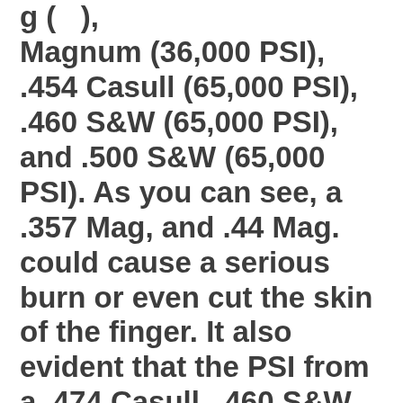g ( ), Magnum (36,000 PSI), .454 Casull (65,000 PSI), .460 S&W (65,000 PSI), and .500 S&W (65,000 PSI). As you can see, a .357 Mag, and .44 Mag. could cause a serious burn or even cut the skin of the finger. It also evident that the PSI from a .474 Casull, .460 S&W and a .500 S&W could destroy a finger.